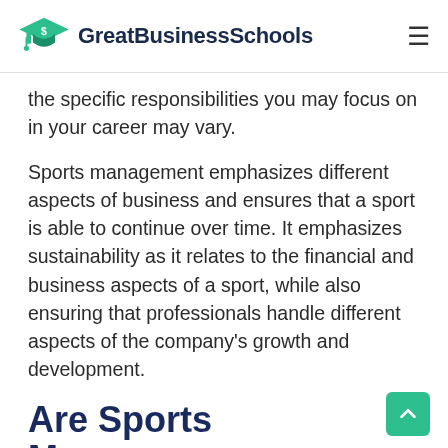GreatBusinessSchools
the specific responsibilities you may focus on in your career may vary.
Sports management emphasizes different aspects of business and ensures that a sport is able to continue over time. It emphasizes sustainability as it relates to the financial and business aspects of a sport, while also ensuring that professionals handle different aspects of the company's growth and development.
Are Sports Management